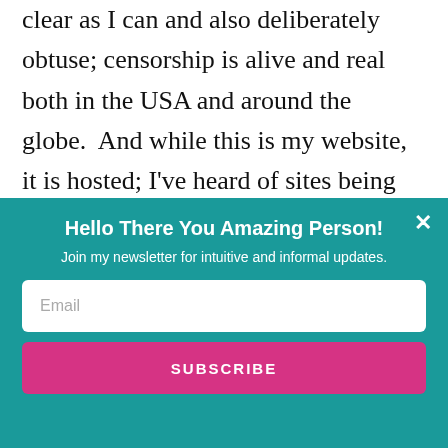clear as I can and also deliberately obtuse; censorship is alive and real both in the USA and around the globe. And while this is my website, it is hosted; I've heard of sites being pulled down. Therefore, I'm being extra, extra cautious.
Rona arrived in early November and stayed for
[Figure (other): Newsletter signup modal popup with teal background. Title: 'Hello There You Amazing Person!', subtitle: 'Join my newsletter for intuitive and informal updates.', email input field, and SUBSCRIBE button in pink/magenta.]